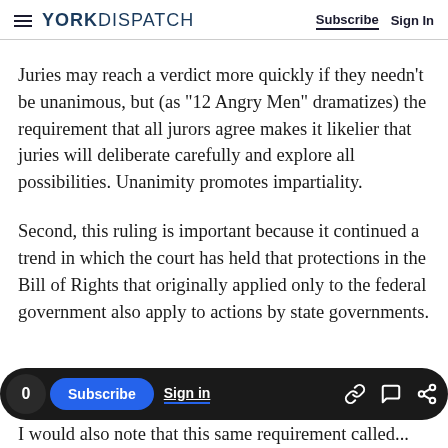YORK DISPATCH | Subscribe | Sign In
Juries may reach a verdict more quickly if they needn’t be unanimous, but (as “12 Angry Men” dramatizes) the requirement that all jurors agree makes it likelier that juries will deliberate carefully and explore all possibilities. Unanimity promotes impartiality.
Second, this ruling is important because it continued a trend in which the court has held that protections in the Bill of Rights that originally applied only to the federal government also apply to actions by state governments.